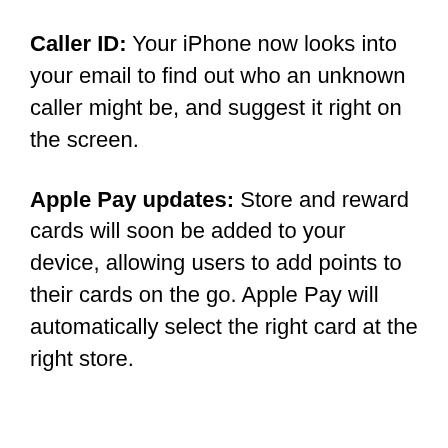Caller ID: Your iPhone now looks into your email to find out who an unknown caller might be, and suggest it right on the screen.
Apple Pay updates: Store and reward cards will soon be added to your device, allowing users to add points to their cards on the go. Apple Pay will automatically select the right card at the right store.